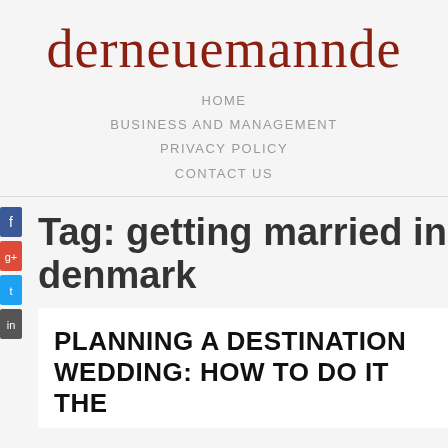derneuemannde
HOME
BUSINESS AND MANAGEMENT
PRIVACY POLICY
CONTACT US
Tag: getting married in denmark
PLANNING A DESTINATION WEDDING: HOW TO DO IT THE